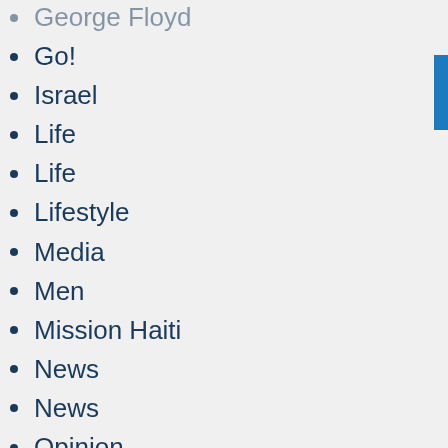George Floyd
Go!
Israel
Life
Life
Lifestyle
Media
Men
Mission Haiti
News
News
Opinion
P.O.V
Politics
Politics
Sponsored
Sports
Virtue
Woman